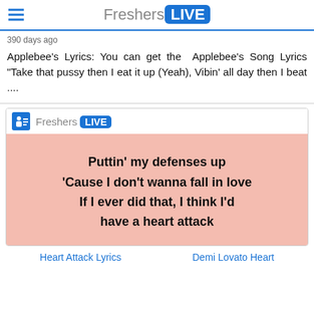FreshersLIVE
390 days ago
Applebee's Lyrics: You can get the Applebee's Song Lyrics "Take that pussy then I eat it up (Yeah), Vibin' all day then I beat ....
[Figure (infographic): FreshersLIVE branded card with pink background showing song lyrics: Puttin' my defenses up 'Cause I don't wanna fall in love If I ever did that, I think I'd have a heart attack]
Heart Attack Lyrics — Demi Lovato Heart